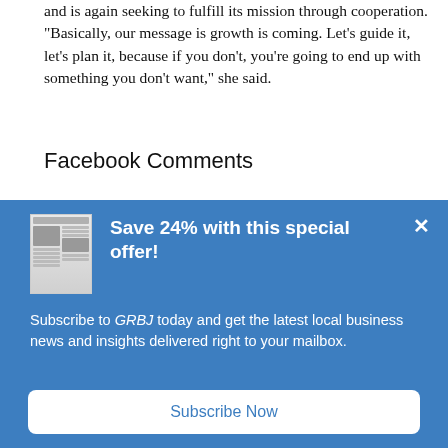and is again seeking to fulfill its mission through cooperation. “Basically, our message is growth is coming. Let’s guide it, let’s plan it, because if you don’t, you’re going to end up with something you don’t want,” she said.
Facebook Comments
[Figure (infographic): Modal advertisement overlay with blue background showing a newspaper thumbnail image on the left, bold white headline 'Save 24% with this special offer!', subscription text, and a 'Subscribe Now' button.]